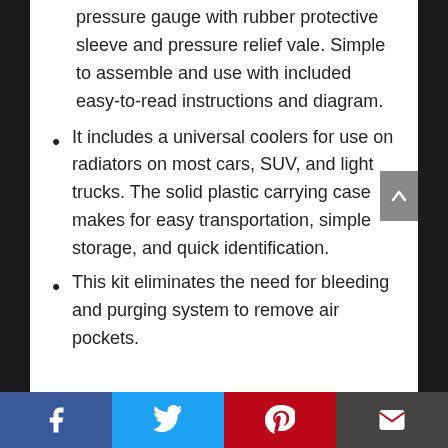pressure gauge with rubber protective sleeve and pressure relief vale. Simple to assemble and use with included easy-to-read instructions and diagram.
It includes a universal coolers for use on radiators on most cars, SUV, and light trucks. The solid plastic carrying case makes for easy transportation, simple storage, and quick identification.
This kit eliminates the need for bleeding and purging system to remove air pockets.
Facebook | Twitter | Pinterest | Email